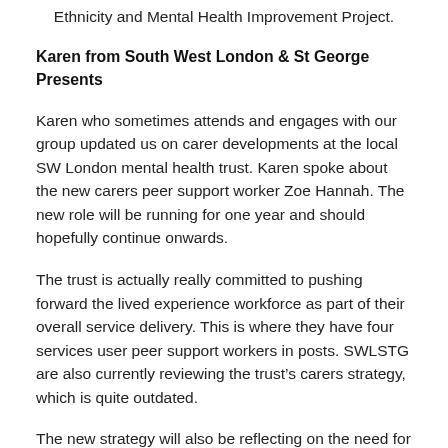Ethnicity and Mental Health Improvement Project.
Karen from South West London & St George Presents
Karen who sometimes attends and engages with our group updated us on carer developments at the local SW London mental health trust. Karen spoke about the new carers peer support worker Zoe Hannah. The new role will be running for one year and should hopefully continue onwards.
The trust is actually really committed to pushing forward the lived experience workforce as part of their overall service delivery. This is where they have four services user peer support workers in posts. SWLSTG are also currently reviewing the trust's carers strategy, which is quite outdated.
The new strategy will also be reflecting on the need for the trust to do more around supporting carers through their carers recovery journey, because carers go through a